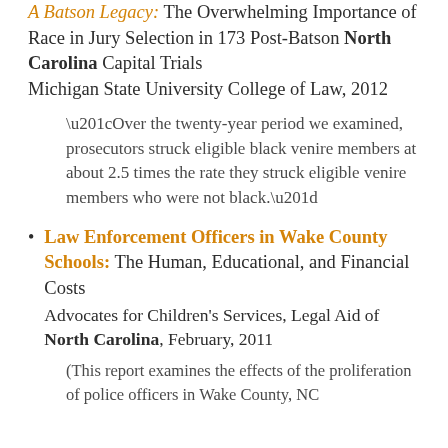A Batson Legacy: The Overwhelming Importance of Race in Jury Selection in 173 Post-Batson North Carolina Capital Trials Michigan State University College of Law, 2012
“Over the twenty-year period we examined, prosecutors struck eligible black venire members at about 2.5 times the rate they struck eligible venire members who were not black.”
Law Enforcement Officers in Wake County Schools: The Human, Educational, and Financial Costs Advocates for Children's Services, Legal Aid of North Carolina, February, 2011
(This report examines the effects of the proliferation of police officers in Wake County, NC